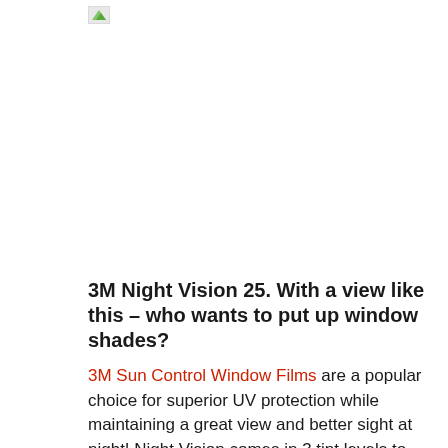[Figure (logo): Small logo icon in upper left area, appears to be a green leaf/plant icon placeholder]
3M Night Vision 25. With a view like this – who wants to put up window shades?
3M Sun Control Window Films are a popular choice for superior UV protection while maintaining a great view and better sight at night! Night Vision comes in 3 tint levels to meet